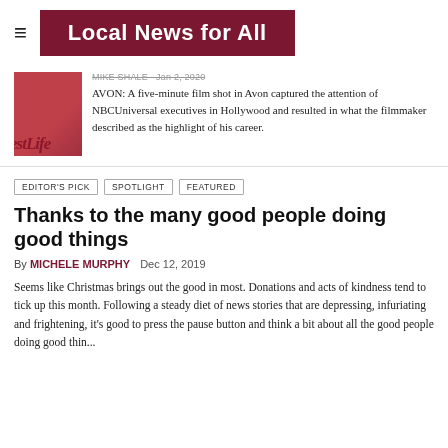Local News for All
[Figure (photo): Photo of a person in red dress alongside WestLife watermark overlay]
AVON: A five-minute film shot in Avon captured the attention of NBCUniversal executives in Hollywood and resulted in what the filmmaker described as the highlight of his career.
EDITOR'S PICK
SPOTLIGHT
FEATURED
Thanks to the many good people doing good things
By MICHELE MURPHY   Dec 12, 2019
Seems like Christmas brings out the good in most. Donations and acts of kindness tend to tick up this month. Following a steady diet of news stories that are depressing, infuriating and frightening, it's good to press the pause button and think a bit about all the good people doing good thin...